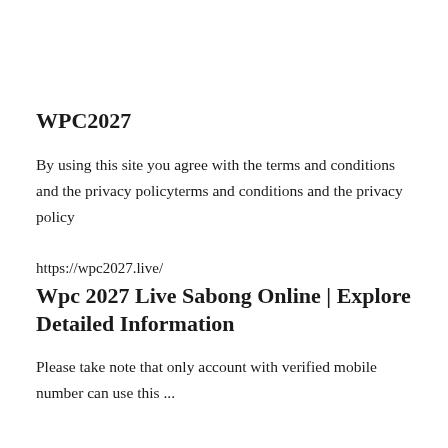WPC2027
By using this site you agree with the terms and conditions and the privacy policyterms and conditions and the privacy policy
https://wpc2027.live/
Wpc 2027 Live Sabong Online | Explore Detailed Information
Please take note that only account with verified mobile number can use this ...